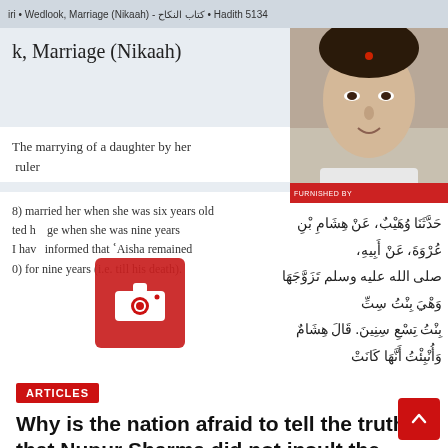iri • Wedlook, Marriage (Nikaah) - كتاب النكاح • Hadith 5134
k, Marriage (Nikaah)
[Figure (photo): Woman speaking, appears to be Nupur Sharma, screenshot from a video/news broadcast]
The marrying of a daughter by her
 ruler
[Figure (other): Arabic text from hadith with a camera icon overlay blocking part of the content]
8) married her when she was six years old ted h... ge when she was nine years I hav... informed that 'Aisha remained 0) for nine years (i.e. till his death).
Arabic hadith text: حَدَّثَنَا وُهَيْبٌ، عَنْ هِشَامِ بْنِ عُرْوَةَ، عَنْ أَبِيهِ، صلى الله عليه وسلم تَزَوَّجَهَا وَهْيَ بِنْتُ سِتِّ بِنْتُ تِسْعِ سِنِينَ. قَالَ هِشَامٌ وَأُنْبِئْتُ أَنَّهَا كَانَتْ
ARTICLES
Why is the nation afraid to tell the truth that Nupur Sharma did not insult the prophet?
JUN 11, 2022   ADMIN